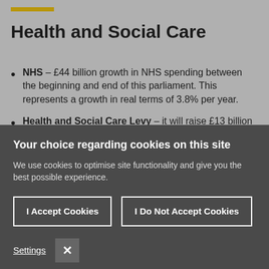Health and Social Care
NHS – £44 billion growth in NHS spending between the beginning and end of this parliament. This represents a growth in real terms of 3.8% per year.
Health and Social Care Levy – it will raise £13 billion per year from April 2022 and will be primarily used to
Your choice regarding cookies on this site
We use cookies to optimise site functionality and give you the best possible experience.
I Accept Cookies
I Do Not Accept Cookies
Settings